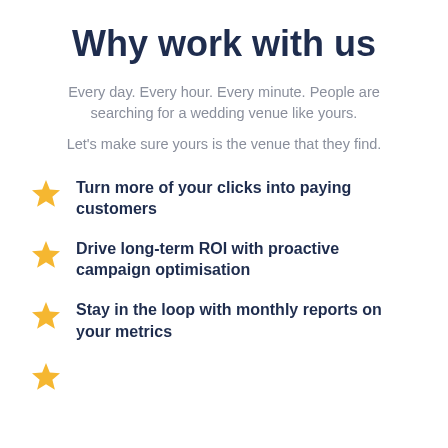Why work with us
Every day. Every hour. Every minute. People are searching for a wedding venue like yours.
Let's make sure yours is the venue that they find.
Turn more of your clicks into paying customers
Drive long-term ROI with proactive campaign optimisation
Stay in the loop with monthly reports on your metrics
...